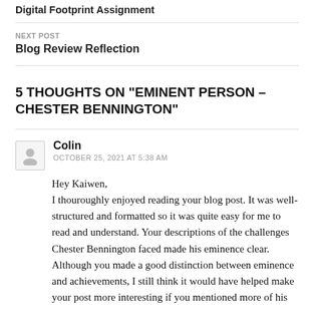Digital Footprint Assignment
NEXT POST
Blog Review Reflection
5 THOUGHTS ON “EMINENT PERSON – CHESTER BENNINGTON”
Colin
OCTOBER 25, 2021 AT 5:38 AM
Hey Kaiwen,
I thouroughly enjoyed reading your blog post. It was well-structured and formatted so it was quite easy for me to read and understand. Your descriptions of the challenges Chester Bennington faced made his eminence clear. Although you made a good distinction between eminence and achievements, I still think it would have helped make your post more interesting if you mentioned more of his